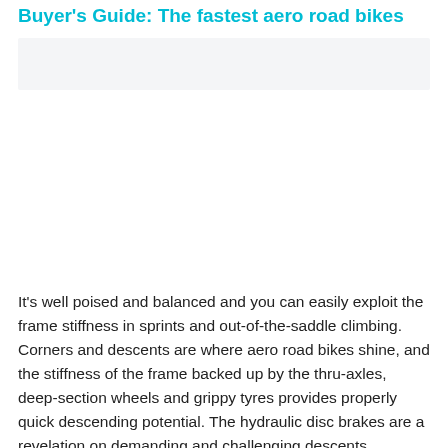Buyer's Guide: The fastest aero road bikes
[Figure (photo): Image placeholder / photo area with light gray background]
It's well poised and balanced and you can easily exploit the frame stiffness in sprints and out-of-the-saddle climbing. Corners and descents are where aero road bikes shine, and the stiffness of the frame backed up by the thru-axles, deep-section wheels and grippy tyres provides properly quick descending potential. The hydraulic disc brakes are a revelation on demanding and challenging descents